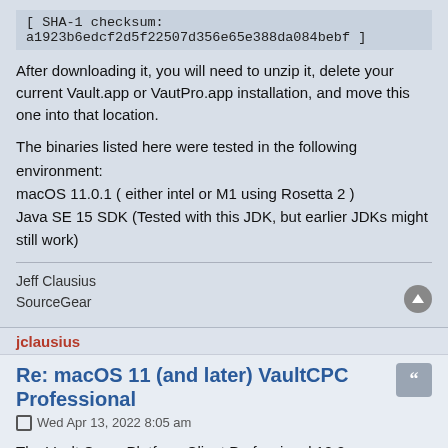[ SHA-1 checksum: a1923b6edcf2d5f22507d356e65e388da084bebf ]
After downloading it, you will need to unzip it, delete your current Vault.app or VautPro.app installation, and move this one into that location.
The binaries listed here were tested in the following environment:
macOS 11.0.1 ( either intel or M1 using Rosetta 2 )
Java SE 15 SDK (Tested with this JDK, but earlier JDKs might still work)
Jeff Clausius
SourceGear
jclausius
Re: macOS 11 (and later) VaultCPC Professional
Wed Apr 13, 2022 8:05 am
The Vault Cross Platform Client Professional 10.2 now supports macOS 11 and macOS 12 using Rosetta 2. [ http://www.sourcegear.com/vault/downloads.html#vaultpro ]
On macOS when starting the VaultCPC Professional you may encounter the error:
"VaultPro" is damaged and can't be opened. You should move it to the